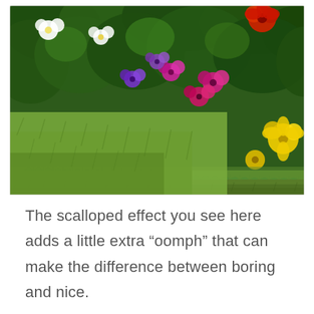[Figure (photo): A garden photo showing a green scalloped plastic lawn edging border separating a well-maintained green grass lawn from a colorful flower bed containing white, pink, purple, magenta, and yellow flowers with lush green foliage.]
The scalloped effect you see here adds a little extra “oomph” that can make the difference between boring and nice.